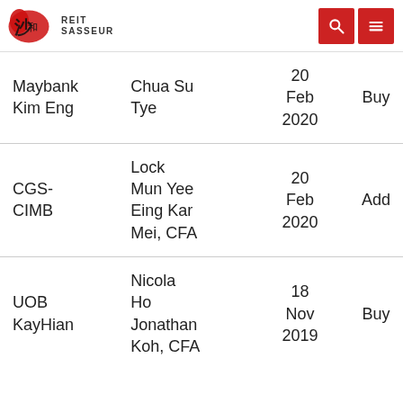REIT SASSEUR
| Broker | Analyst | Date | Rating |
| --- | --- | --- | --- |
| Maybank Kim Eng | Chua Su Tye | 20 Feb 2020 | Buy |
| CGS-CIMB | Lock Mun Yee Eing Kar Mei, CFA | 20 Feb 2020 | Add |
| UOB KayHian | Nicola Ho Jonathan Koh, CFA | 18 Nov 2019 | Buy |